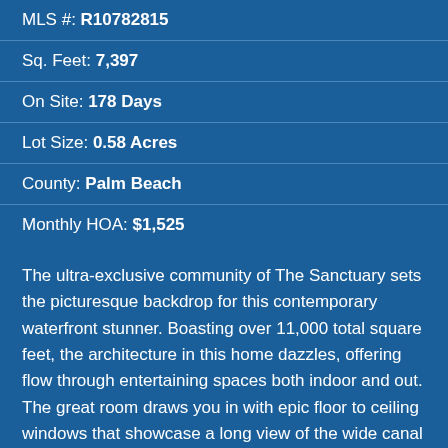MLS #: R10782815
Sq. Feet: 7,397
On Site: 178 Days
Lot Size: 0.58 Acres
County: Palm Beach
Monthly HOA: $1,525
The ultra-exclusive community of The Sanctuary sets the picturesque backdrop for this contemporary waterfront stunner. Boasting over 11,000 total square feet, the architecture in this home dazzles, offering flow through entertaining spaces both indoor and out. The great room draws you in with epic floor to ceiling windows that showcase a long view of the wide canal leading to the intracoastal. Keep your boat at your private dock or in the adjacent 23 slip marina and quickly access the ocean